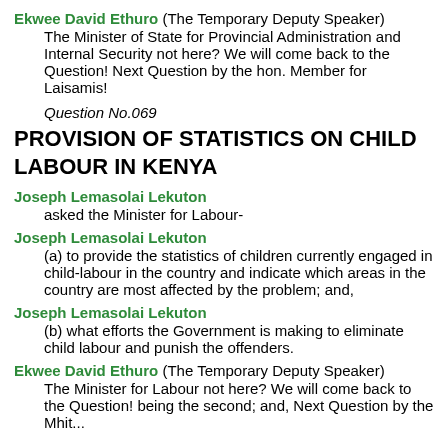Ekwee David Ethuro (The Temporary Deputy Speaker)
 The Minister of State for Provincial Administration and Internal Security not here? We will come back to the Question! Next Question by the hon. Member for Laisamis!
Question No.069
PROVISION OF STATISTICS ON CHILD LABOUR IN KENYA
Joseph Lemasolai Lekuton
asked the Minister for Labour-
Joseph Lemasolai Lekuton
(a) to provide the statistics of children currently engaged in child-labour in the country and indicate which areas in the country are most affected by the problem; and,
Joseph Lemasolai Lekuton
(b) what efforts the Government is making to eliminate child labour and punish the offenders.
Ekwee David Ethuro (The Temporary Deputy Speaker)
The Minister for Labour not here? We will come back to the Question! being the second; and, Next Question by the Mhit...